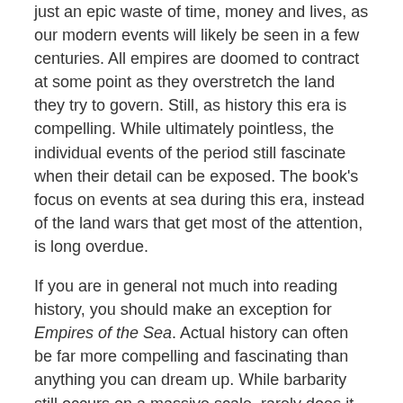just an epic waste of time, money and lives, as our modern events will likely be seen in a few centuries. All empires are doomed to contract at some point as they overstretch the land they try to govern. Still, as history this era is compelling. While ultimately pointless, the individual events of the period still fascinate when their detail can be exposed. The book's focus on events at sea during this era, instead of the land wars that get most of the attention, is long overdue.
If you are in general not much into reading history, you should make an exception for Empires of the Sea. Actual history can often be far more compelling and fascinating than anything you can dream up. While barbarity still occurs on a massive scale, rarely does it reach these sorts of magnitudes today. Thankfully, we are generally more civilized today. While some crazy neoconservatives would be happy to emulate the cruelty of those days again in CIA torture chambers, hopefully they will remain a small minority. After reading Empires of the Sea, you realize that only fools or ignoramuses would want to revert to those crazy and barbaric days of yore.
[Figure (other): Social sharing buttons: Facebook, Twitter, Email, Share]